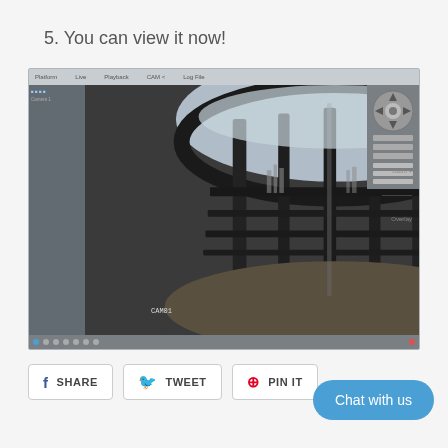5. You can view it now!
[Figure (screenshot): Security camera software interface showing a fisheye lens camera view of a building exterior with railings and sky. Interface includes menu bar, left sidebar with camera controls, PTZ control panel on the right, and bottom toolbar. Camera label CAM01 visible.]
SHARE
TWEET
PIN IT
Chat with us